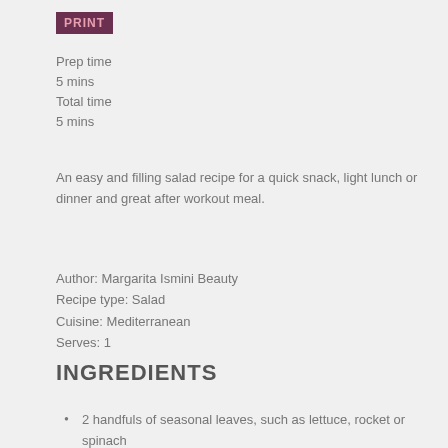PRINT
Prep time
5 mins
Total time
5 mins
An easy and filling salad recipe for a quick snack, light lunch or dinner and great after workout meal.
Author: Margarita Ismini Beauty
Recipe type: Salad
Cuisine: Mediterranean
Serves: 1
INGREDIENTS
2 handfuls of seasonal leaves, such as lettuce, rocket or spinach